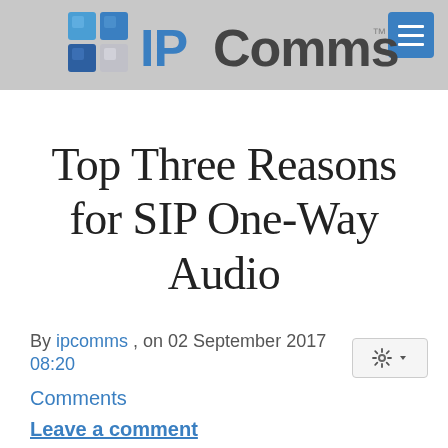IPComms™
Top Three Reasons for SIP One-Way Audio
By ipcomms , on 02 September 2017 08:20
Comments
Leave a comment